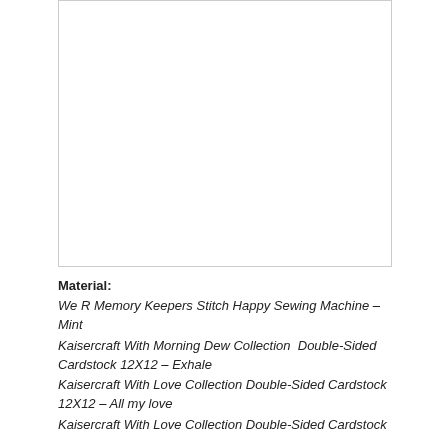[Figure (photo): Empty white image placeholder with light gray border]
Material:
We R Memory Keepers Stitch Happy Sewing Machine – Mint
Kaisercraft With Morning Dew Collection  Double-Sided Cardstock 12X12 – Exhale
Kaisercraft With Love Collection Double-Sided Cardstock 12X12 – All my love
Kaisercraft With Love Collection Double-Sided Cardstock